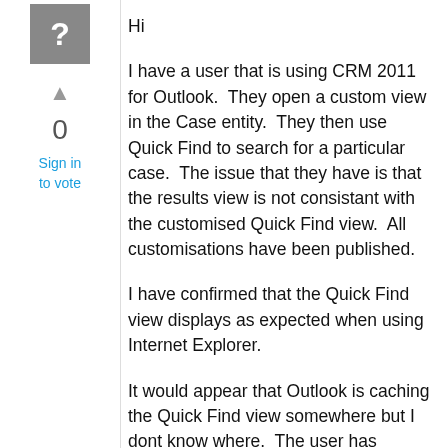[Figure (other): Question icon: grey square with white question mark]
▲
0
Sign in to vote
Hi

I have a user that is using CRM 2011 for Outlook.  They open a custom view in the Case entity.  They then use Quick Find to search for a particular case.  The issue that they have is that the results view is not consistant with the customised Quick Find view.  All customisations have been published.

I have confirmed that the Quick Find view displays as expected when using Internet Explorer.

It would appear that Outlook is caching the Quick Find view somewhere but I dont know where.  The user has restarted their machine so all caches should have been cleared.